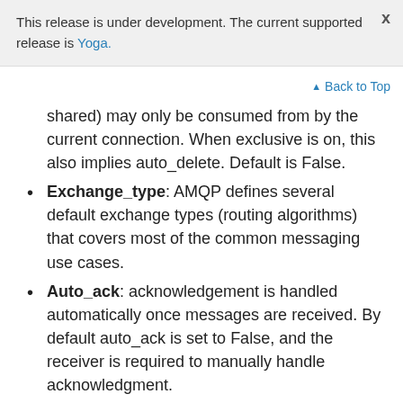This release is under development. The current supported release is Yoga.
Back to Top
shared) may only be consumed from by the current connection. When exclusive is on, this also implies auto_delete. Default is False.
Exchange_type: AMQP defines several default exchange types (routing algorithms) that covers most of the common messaging use cases.
Auto_ack: acknowledgement is handled automatically once messages are received. By default auto_ack is set to False, and the receiver is required to manually handle acknowledgment.
No_ack: it disable acknowledgement on the server side. This is different from